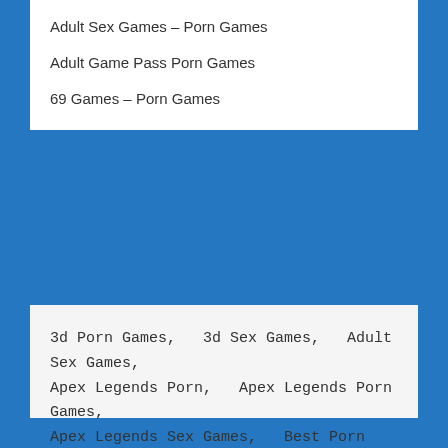Adult Sex Games – Porn Games
Adult Game Pass Porn Games
69 Games – Porn Games
3d Porn Games,   3d Sex Games,   Adult Sex Games,  Apex Legends Porn,   Apex Legends Porn Games,  Apex Legends Sex Games,   Best Porn Games,  Free Apex Legends Porn,   Freeapexlegendsporn.com,  Free Porn Games,   Free Sex Games,  Mobile Porn Games,   Mobile Sex Games,  Online Sex Games,   Porn Games,  Porn Games Download,   Porn Games Hub,  Sex Games,   Sex Games For Couples,  Sex Games Online